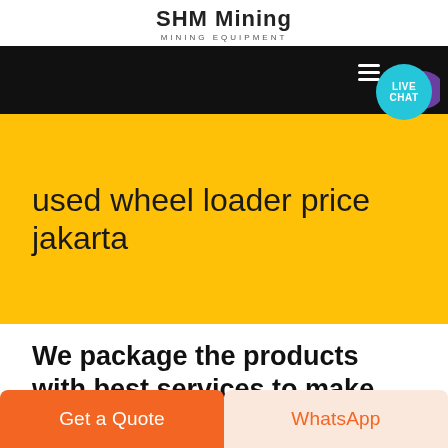SHM Mining
MINING EQUIPMENT
[Figure (screenshot): Black navigation bar with white hamburger menu icon, partially visible. Live Chat bubble (teal circle with white LIVE CHAT text and purple speech bubble icon) overlaid on the top-right corner.]
used wheel loader price jakarta
We package the products with best services to make you a happy
Get a Quote
WhatsApp